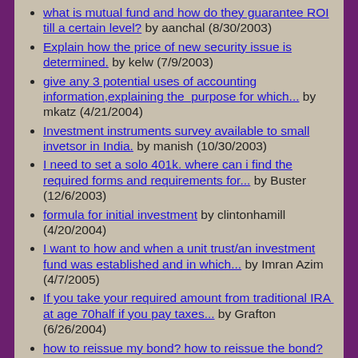what is mutual fund and how do they guarantee ROI till a certain level? by aanchal (8/30/2003)
Explain how the price of new security issue is determined. by kelw (7/9/2003)
give any 3 potential uses of accounting information,explaining the  purpose for which... by mkatz (4/21/2004)
Investment instruments survey available to small invetsor in India. by manish (10/30/2003)
I need to set a solo 401k. where can i find the required forms and requirements for... by Buster (12/6/2003)
formula for initial investment by clintonhamill (4/20/2004)
I want to how and when a unit trust/an investment fund was established and in which... by Imran Azim (4/7/2005)
If you take your required amount from traditional IRA  at age 70half if you pay taxes... by Grafton (6/26/2004)
how to reissue my bond? how to reissue the bond? by lynn (10/20/2003)
WHAT WOULD A 20,000 DOLLAR BOND BE WORTH IN ABOUT 30 YEARS? by MOUNTAIN MAN (10/1/2003)